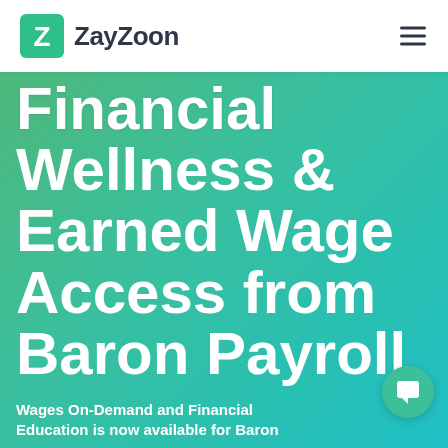ZayZoon
Financial Wellness & Earned Wage Access from Baron Payroll
Wages On-Demand and Financial Education is now available for Baron